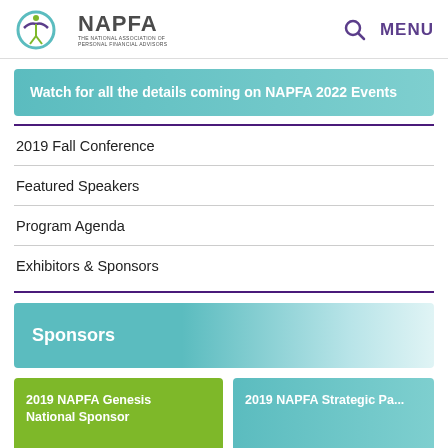NAPFA - THE NATIONAL ASSOCIATION OF PERSONAL FINANCIAL ADVISORS | MENU
Watch for all the details coming on NAPFA 2022 Events
2019 Fall Conference
Featured Speakers
Program Agenda
Exhibitors & Sponsors
Sponsors
2019 NAPFA Genesis National Sponsor
2019 NAPFA Strategic Pa...